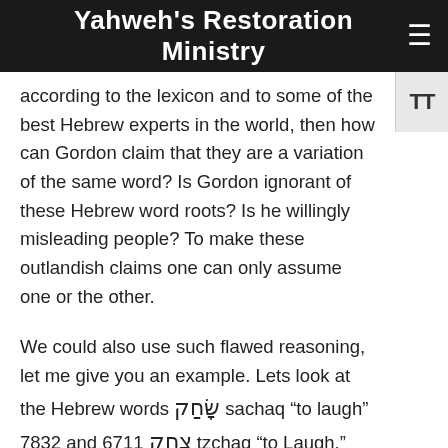Yahweh's Restoration Ministry
according to the lexicon and to some of the best Hebrew experts in the world, then how can Gordon claim that they are a variation of the same word? Is Gordon ignorant of these Hebrew word roots? Is he willingly misleading people? To make these outlandish claims one can only assume one or the other.
We could also use such flawed reasoning, let me give you an example. Lets look at the Hebrew words שָׂחַק sachaq “to laugh” 7832 and צָחַק 6711 tzchaq “to Laugh.” Both have different roots but similar sounds. So with the same logic used by Gordon, does this mean that the letters Sin (s) and the Tzade (ts) have the same pronunciation just because the sounds of these letters are similar? Is